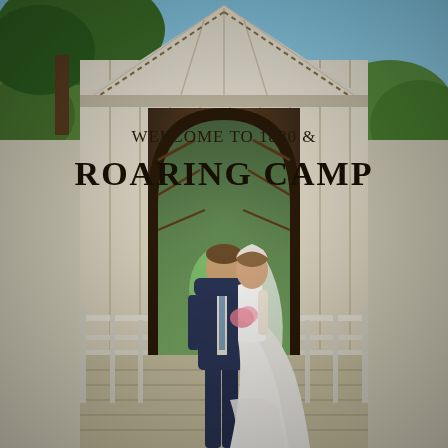[Figure (photo): Outdoor wedding photo at Roaring Camp. A bride in a white gown with long veil and a groom in a navy suit stand together on a white-railed wooden bridge walkway leading into a large covered bridge structure. The covered bridge has a peaked white-painted wooden facade with the text 'WELCOME TO 1880 & ROARING CAMP' painted in large black letters. Green trees are visible in the background and through the tunnel of the bridge. Blue sky is visible above. Sunlit summer day.]